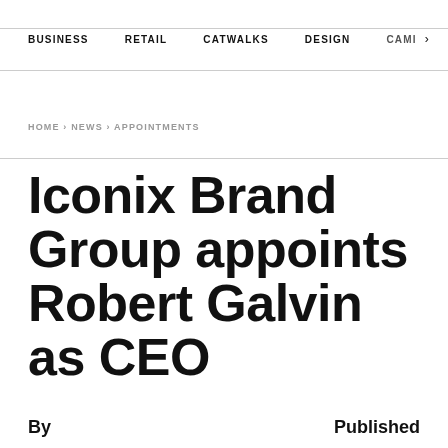BUSINESS   RETAIL   CATWALKS   DESIGN   CAMI  >
HOME › NEWS › APPOINTMENTS
Iconix Brand Group appoints Robert Galvin as CEO
By                    Published